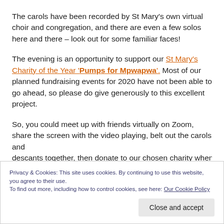The carols have been recorded by St Mary's own virtual choir and congregation, and there are even a few solos here and there – look out for some familiar faces!
The evening is an opportunity to support our St Mary's Charity of the Year 'Pumps for Mpwapwa'. Most of our planned fundraising events for 2020 have not been able to go ahead, so please do give generously to this excellent project.
So, you could meet up with friends virtually on Zoom, share the screen with the video playing, belt out the carols and descants together, then donate to our chosen charity when
Privacy & Cookies: This site uses cookies. By continuing to use this website, you agree to their use.
To find out more, including how to control cookies, see here: Our Cookie Policy